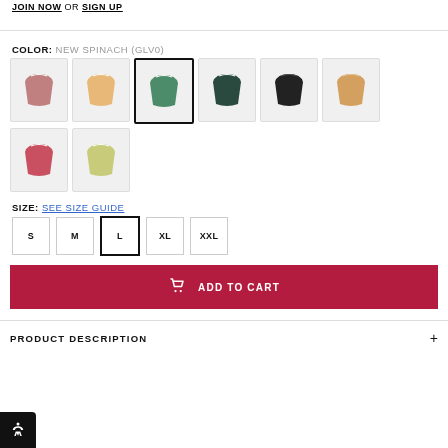JOIN NOW OR SIGN UP
COLOR: NEW SPINACH (GLV0)
[Figure (illustration): Eight color swatches of swim shorts: pink/mauve, peach/orange, green (selected with black border), dark teal, black, light orange, coral/red, and yellow-green.]
SIZE: SEE SIZE GUIDE
S  M  L (selected)  XL  XXL
ADD TO CART
PRODUCT DESCRIPTION